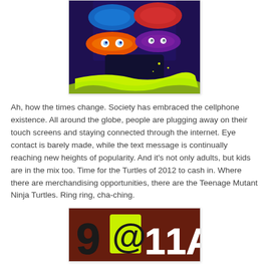[Figure (photo): Teenage Mutant Ninja Turtles masked faces with colorful eye masks (blue, red, orange, purple) on a dark purple/blue background with yellow-green paint strokes at the bottom.]
Ah, how the times change. Society has embraced the cellphone existence. All around the globe, people are plugging away on their touch screens and staying connected through the internet. Eye contact is barely made, while the text message is continually reaching new heights of popularity. And it's not only adults, but kids are in the mix too. Time for the Turtles of 2012 to cash in. Where there are merchandising opportunities, there are the Teenage Mutant Ninja Turtles. Ring ring, cha-ching.
[Figure (photo): Sign or banner showing '9 @ 11AM' in large stylized letters with yellow-green and white colors on a dark red/brown background.]